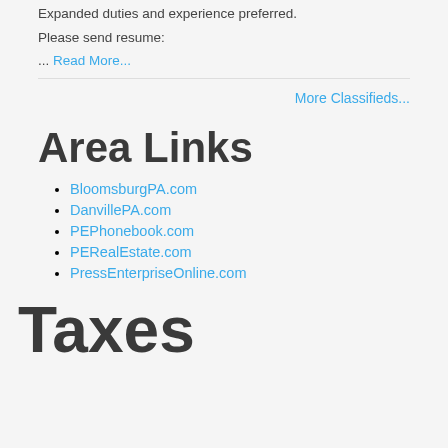Expanded duties and experience preferred.
Please send resume:
... Read More...
More Classifieds...
Area Links
BloomsburgPA.com
DanvillePA.com
PEPhonebook.com
PERealEstate.com
PressEnterpriseOnline.com
Taxes